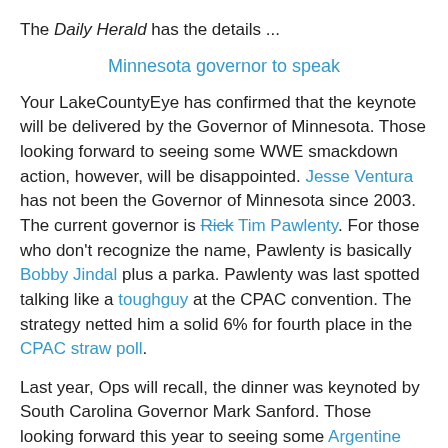The Daily Herald has the details ...
Minnesota governor to speak
Your LakeCountyEye has confirmed that the keynote will be delivered by the Governor of Minnesota. Those looking forward to seeing some WWE smackdown action, however, will be disappointed. Jesse Ventura has not been the Governor of Minnesota since 2003. The current governor is Rick Tim Pawlenty. For those who don't recognize the name, Pawlenty is basically Bobby Jindal plus a parka. Pawlenty was last spotted talking like a toughguy at the CPAC convention. The strategy netted him a solid 6% for fourth place in the CPAC straw poll.
Last year, Ops will recall, the dinner was keynoted by South Carolina Governor Mark Sanford. Those looking forward this year to seeing some Argentine Backbreaker action will be disappointed.
Pawlenty was not the Federation's first choice. Your LakeCountyEye has learned that no fewer than 10 other